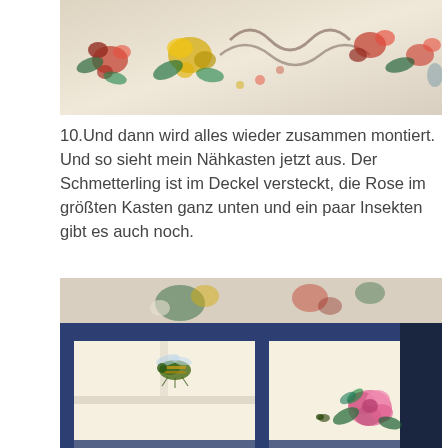[Figure (photo): Close-up photo of floral fabric with red, yellow, and green flower patterns on white background]
10.Und dann wird alles wieder zusammen montiert. Und so sieht mein Nähkasten jetzt aus. Der Schmetterling ist im Deckel versteckt, die Rose im größten Kasten ganz unten und ein paar Insekten gibt es auch noch.
[Figure (photo): Photo of an open blue-framed sewing box with white interior compartments, decorated with decoupage images of a bee and a rose, with floral fabric visible in the background]